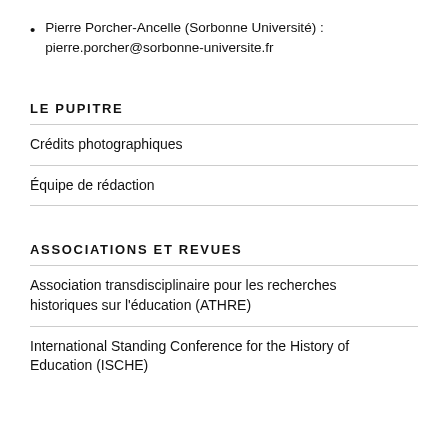Pierre Porcher-Ancelle (Sorbonne Université) : pierre.porcher@sorbonne-universite.fr
LE PUPITRE
Crédits photographiques
Équipe de rédaction
ASSOCIATIONS ET REVUES
Association transdisciplinaire pour les recherches historiques sur l'éducation (ATHRE)
International Standing Conference for the History of Education (ISCHE)